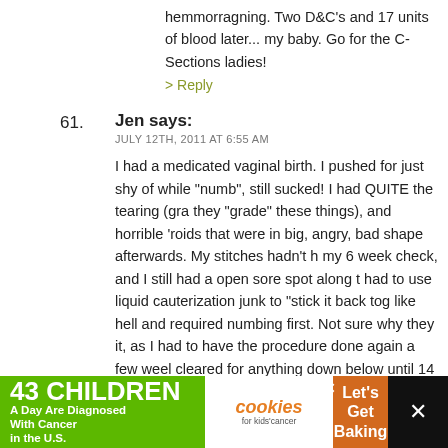hemmorragning. Two D&C's and 17 units of blood later... my baby. Go for the C-Sections ladies!
> Reply
61. Jen says:
JULY 12TH, 2011 AT 6:55 AM

I had a medicated vaginal birth. I pushed for just shy of while "numb", still sucked! I had QUITE the tearing (gra they "grade" these things), and horrible 'roids that were in big, angry, bad shape afterwards. My stitches hadn't h my 6 week check, and I still had a open sore spot along t had to use liquid cauterization junk to "stick it back tog like hell and required numbing first. Not sure why they it, as I had to have the procedure done again a few weel cleared for anything down below until 14 weeks postpa So, while I was certainly up and about during that time, rather had a c-section than the mess I ended up with! I women recover quickly from a vag birth, not sure what
[Figure (infographic): Advertisement banner: 43 Children A Day Are Diagnosed With Cancer in the U.S. - cookies for kids cancer - Let's Get Baking]